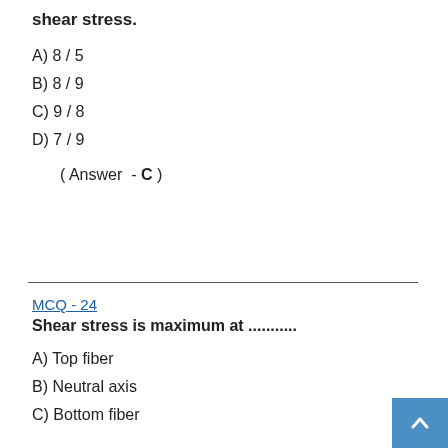shear stress.
A) 8 / 5
B) 8 / 9
C) 9 / 8
D) 7 / 9
( Answer  - C )
MCQ - 24
Shear stress is maximum at ...........
A) Top fiber
B) Neutral axis
C) Bottom fiber